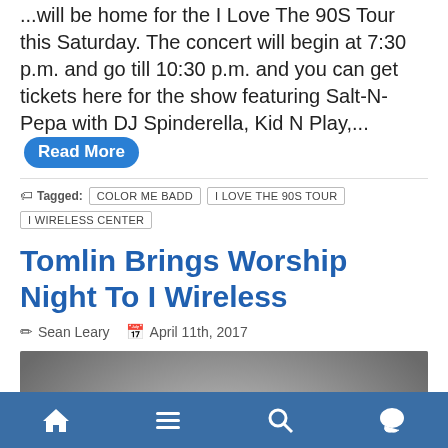...will be home for the I Love The 90S Tour this Saturday. The concert will begin at 7:30 p.m. and go till 10:30 p.m. and you can get tickets here for the show featuring Salt-N-Pepa with DJ Spinderella, Kid N Play,... Read More
Tagged: COLOR ME BADD   I LOVE THE 90S TOUR   I WIRELESS CENTER
Tomlin Brings Worship Night To I Wireless
Sean Leary   April 11th, 2017
[Figure (photo): Photo of a man smiling, wearing a dark jacket, against a gray background]
Navigation bar with home, menu, search, and comment icons